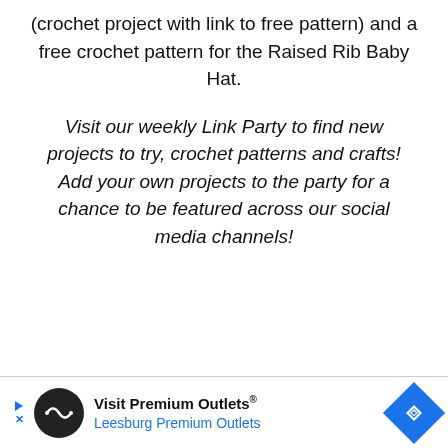(crochet project with link to free pattern) and a free crochet pattern for the Raised Rib Baby Hat.
Visit our weekly Link Party to find new projects to try, crochet patterns and crafts! Add your own projects to the party for a chance to be featured across our social media channels!
[Figure (other): Advertisement banner for Visit Premium Outlets - Leesburg Premium Outlets with logo and navigation arrow icon]